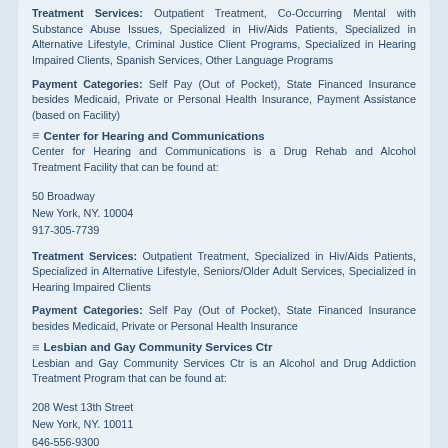Treatment Services: Outpatient Treatment, Co-Occurring Mental with Substance Abuse Issues, Specialized in Hiv/Aids Patients, Specialized in Alternative Lifestyle, Criminal Justice Client Programs, Specialized in Hearing Impaired Clients, Spanish Services, Other Language Programs
Payment Categories: Self Pay (Out of Pocket), State Financed Insurance besides Medicaid, Private or Personal Health Insurance, Payment Assistance (based on Facility)
Center for Hearing and Communications
Center for Hearing and Communications is a Drug Rehab and Alcohol Treatment Facility that can be found at:
50 Broadway
New York, NY. 10004
917-305-7739
Treatment Services: Outpatient Treatment, Specialized in Hiv/Aids Patients, Specialized in Alternative Lifestyle, Seniors/Older Adult Services, Specialized in Hearing Impaired Clients
Payment Categories: Self Pay (Out of Pocket), State Financed Insurance besides Medicaid, Private or Personal Health Insurance
Lesbian and Gay Community Services Ctr
Lesbian and Gay Community Services Ctr is an Alcohol and Drug Addiction Treatment Program that can be found at:
208 West 13th Street
New York, NY. 10011
646-556-9300